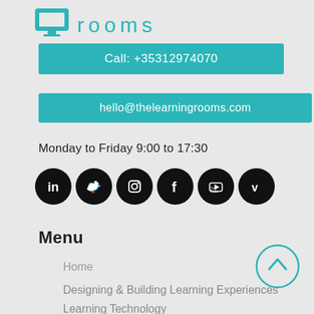[Figure (logo): The Learning Rooms logo with teal monitor icon and text 'rooms' in teal spaced letters]
Call: +35312974070
hello@thelearningrooms.com
Monday to Friday 9:00 to 17:30
[Figure (illustration): Six black circular social media icons: LinkedIn, Twitter, Instagram, Facebook, YouTube, Vimeo]
Menu
Home
Designing & Building Learning Experiences
Learning Technology
[Figure (illustration): Teal circle with upward arrow for back-to-top navigation]